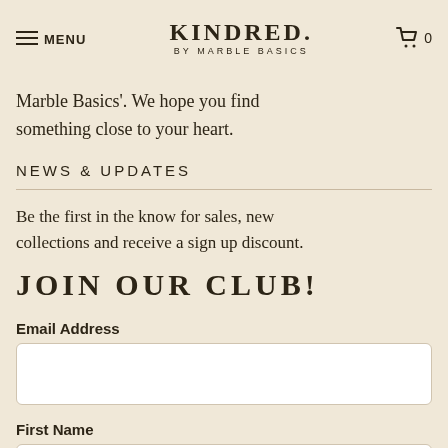KINDRED. BY MARBLE BASICS | MENU | Cart 0
Marble Basics'. We hope you find something close to your heart.
NEWS & UPDATES
Be the first in the know for sales, new collections and receive a sign up discount.
JOIN OUR CLUB!
Email Address
First Name